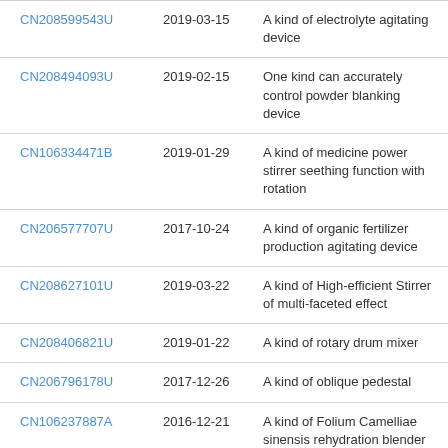| CN208599543U | 2019-03-15 | A kind of electrolyte agitating device |
| CN208494093U | 2019-02-15 | One kind can accurately control powder blanking device |
| CN106334471B | 2019-01-29 | A kind of medicine power stirrer seething function with rotation |
| CN206577707U | 2017-10-24 | A kind of organic fertilizer production agitating device |
| CN208627101U | 2019-03-22 | A kind of High-efficient Stirrer of multi-faceted effect |
| CN208406821U | 2019-01-22 | A kind of rotary drum mixer |
| CN206796178U | 2017-12-26 | A kind of oblique pedestal |
| CN106237887A | 2016-12-21 | A kind of Folium Camelliae sinensis rehydration blender |